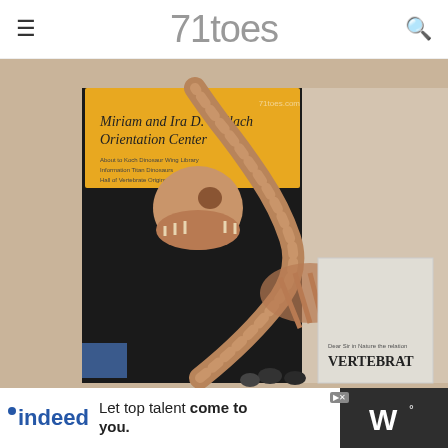71toes
[Figure (photo): Dinosaur skeleton on display at the Miriam and Ira D. Wallach Orientation Center museum exhibit. The large dinosaur skeleton is shown with its neck and head extending upward, in a dark room with visitors visible below. A yellow sign reads 'Miriam and Ira D. Wallach Orientation Center' with museum directional text. To the right is a display case with 'VERTEBRAT' visible on a sign.]
[Figure (infographic): Advertisement banner: indeed logo with text 'Let top talent come to you.' on white background. On the right side is a dark background with a stylized 'w' degree symbol logo.]